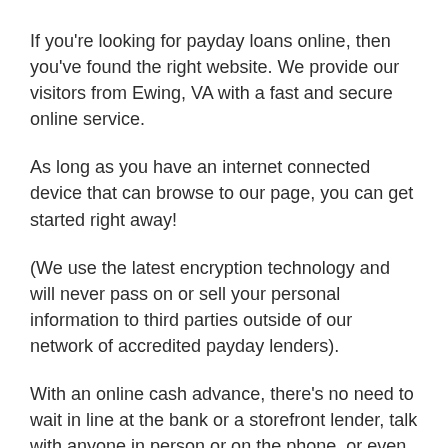If you're looking for payday loans online, then you've found the right website. We provide our visitors from Ewing, VA with a fast and secure online service.
As long as you have an internet connected device that can browse to our page, you can get started right away!
(We use the latest encryption technology and will never pass on or sell your personal information to third parties outside of our network of accredited payday lenders).
With an online cash advance, there's no need to wait in line at the bank or a storefront lender, talk with anyone in person or on the phone, or even fill out any physical paperwork. Since most of the documentation our lenders require is now available digitally (e.g. pdf statements), all you have to do is attach them to your online lender application – no faxing